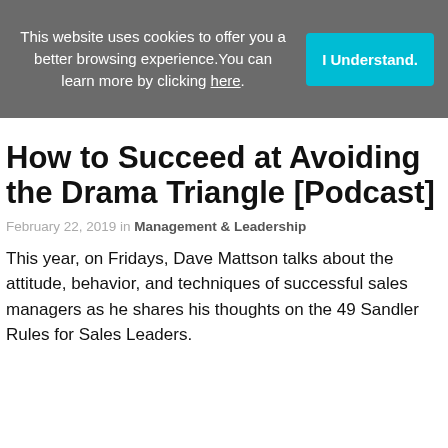This website uses cookies to offer you a better browsing experience. You can learn more by clicking here.
How to Succeed at Avoiding the Drama Triangle [Podcast]
February 22, 2019 in Management & Leadership
This year, on Fridays, Dave Mattson talks about the attitude, behavior, and techniques of successful sales managers as he shares his thoughts on the 49 Sandler Rules for Sales Leaders.